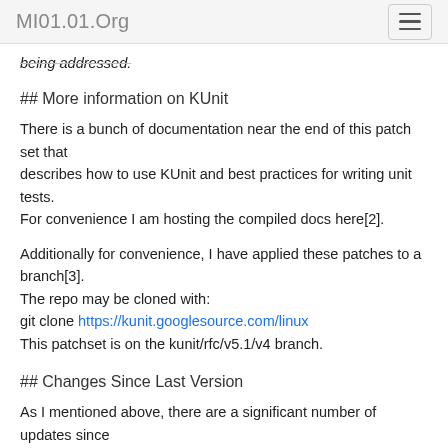MI01.01.Org
being addressed.
## More information on KUnit
There is a bunch of documentation near the end of this patch set that
describes how to use KUnit and best practices for writing unit tests.
For convenience I am hosting the compiled docs here[2].
Additionally for convenience, I have applied these patches to a branch[3].
The repo may be cloned with:
git clone https://kunit.googlesource.com/linux
This patchset is on the kunit/rfc/v5.1/v4 branch.
## Changes Since Last Version
As I mentioned above, there are a significant number of updates since
v2: